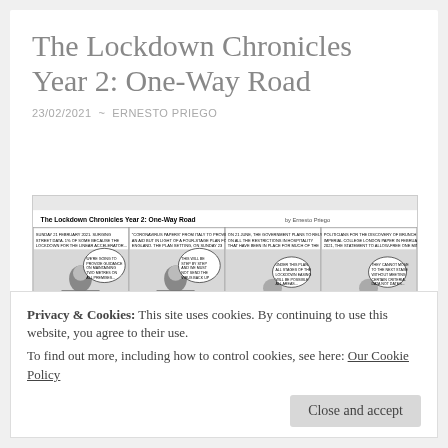The Lockdown Chronicles Year 2: One-Way Road
23/02/2021  ~  ERNESTO PRIEGO
[Figure (illustration): A four-panel black-and-white comic strip titled 'The Lockdown Chronicles Year 2: One-Way Road' by Ernesto Priego, depicting a politician figure in multiple panels with speech bubbles, with text narration above each panel and a caption below.]
Privacy & Cookies: This site uses cookies. By continuing to use this website, you agree to their use.
To find out more, including how to control cookies, see here: Our Cookie Policy
Close and accept